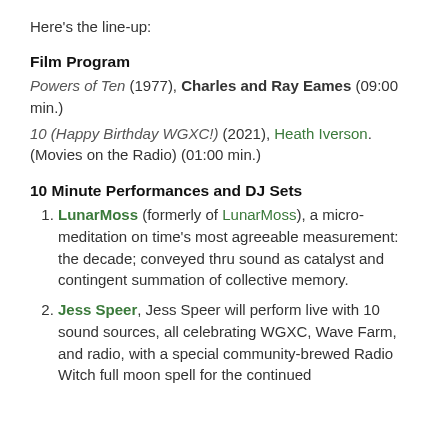Here's the line-up:
Film Program
Powers of Ten (1977), Charles and Ray Eames (09:00 min.)
10 (Happy Birthday WGXC!) (2021), Heath Iverson. (Movies on the Radio) (01:00 min.)
10 Minute Performances and DJ Sets
LunarMoss (formerly of LunarMoss), a micro-meditation on time's most agreeable measurement: the decade; conveyed thru sound as catalyst and contingent summation of collective memory.
Jess Speer, Jess Speer will perform live with 10 sound sources, all celebrating WGXC, Wave Farm, and radio, with a special community-brewed Radio Witch full moon spell for the continued